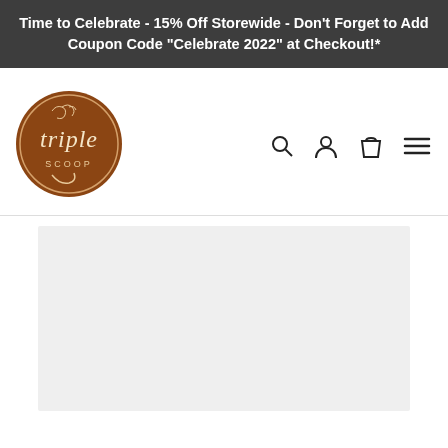Time to Celebrate - 15% Off Storewide - Don't Forget to Add Coupon Code "Celebrate 2022" at Checkout!*
[Figure (logo): Triple Scoop logo — circular brown badge with cursive 'triple' and 'SCOOP' text in white]
[Figure (screenshot): Navigation icons: search magnifier, user/account person icon, shopping bag/cart icon, hamburger menu lines]